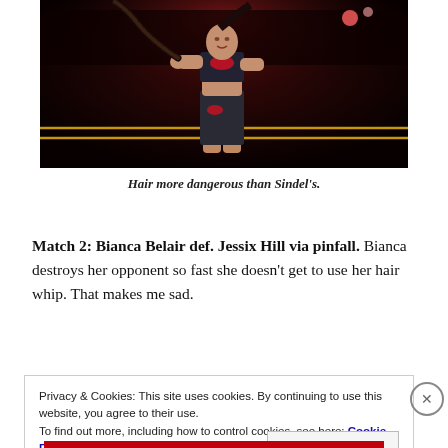[Figure (photo): A female wrestler (Bianca Belair) in dark spandex outfit with red lip print design, showing abs, holding a long braided ponytail as a whip, standing in a dark arena with red lighting]
Hair more dangerous than Sindel's.
Match 2: Bianca Belair def. Jessix Hill via pinfall. Bianca destroys her opponent so fast she doesn't get to use her hair whip. That makes me sad.
Privacy & Cookies: This site uses cookies. By continuing to use this website, you agree to their use.
To find out more, including how to control cookies, see here: Cookie Policy